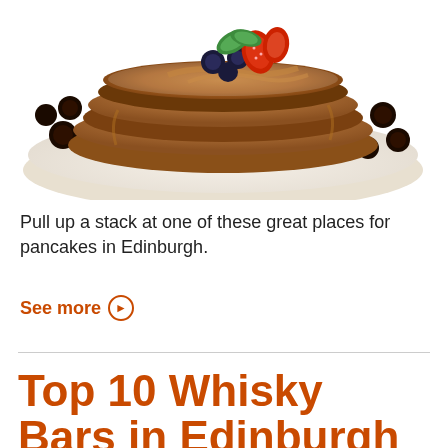[Figure (photo): Stack of fluffy pancakes topped with fresh strawberries, blueberries, mint leaves, powdered sugar and maple syrup drizzled over them, photographed from above on a white plate]
Pull up a stack at one of these great places for pancakes in Edinburgh.
See more ▶
Top 10 Whisky Bars in Edinburgh